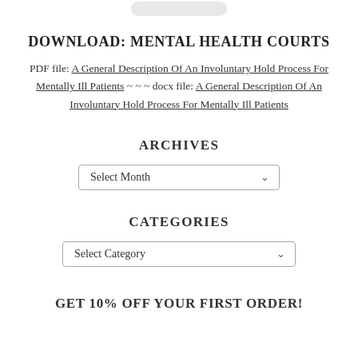DOWNLOAD: MENTAL HEALTH COURTS
PDF file: A General Description Of An Involuntary Hold Process For Mentally Ill Patients ~ ~ ~ docx file: A General Description Of An Involuntary Hold Process For Mentally Ill Patients
ARCHIVES
Select Month
CATEGORIES
Select Category
GET 10% OFF YOUR FIRST ORDER!